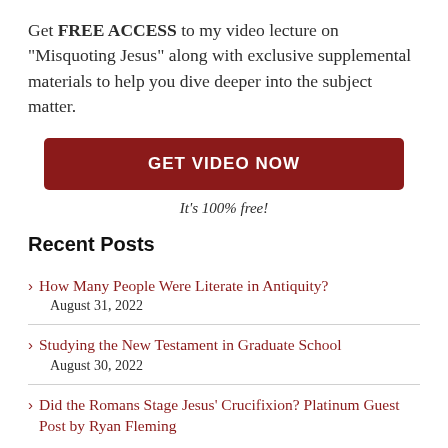Get FREE ACCESS to my video lecture on "Misquoting Jesus" along with exclusive supplemental materials to help you dive deeper into the subject matter.
[Figure (other): Red button labeled GET VIDEO NOW]
It's 100% free!
Recent Posts
How Many People Were Literate in Antiquity? August 31, 2022
Studying the New Testament in Graduate School August 30, 2022
Did the Romans Stage Jesus' Crucifixion? Platinum Guest Post by Ryan Fleming